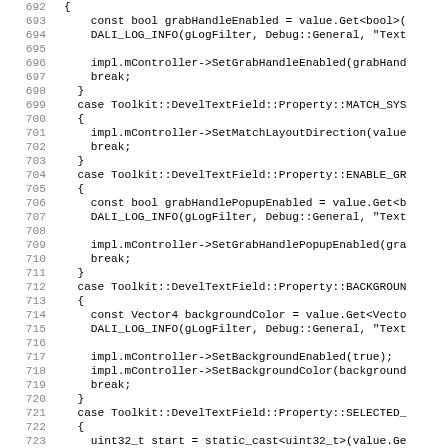[Figure (screenshot): Source code listing in C++ showing a switch-case block handling DevelTextField properties. Line numbers 692-724 visible on left side. Code includes cases for GRAB_HANDLE_ENABLED, MATCH_SYSTEM_LANGUAGE_DIRECTION, ENABLE_GRAB_HANDLE_POPUP, BACKGROUND_COLOR, and SELECTED_ properties.]